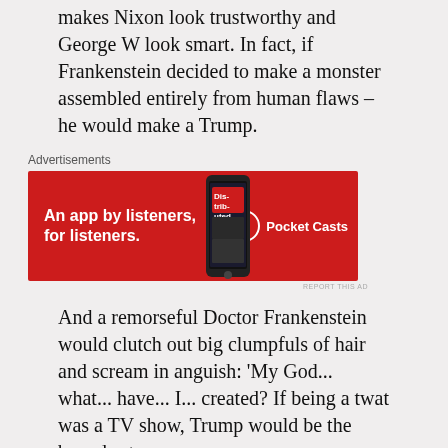makes Nixon look trustworthy and George W look smart. In fact, if Frankenstein decided to make a monster assembled entirely from human flaws – he would make a Trump.
[Figure (other): Advertisement banner for Pocket Casts app: red background with text 'An app by listeners, for listeners.' and Pocket Casts logo]
And a remorseful Doctor Frankenstein would clutch out big clumpfuls of hair and scream in anguish: 'My God... what... have... I... created? If being a twat was a TV show, Trump would be the boxed set.
Strange Bedfellows: Cardinal Dolan, U.S. Catholicism & Donald Trump